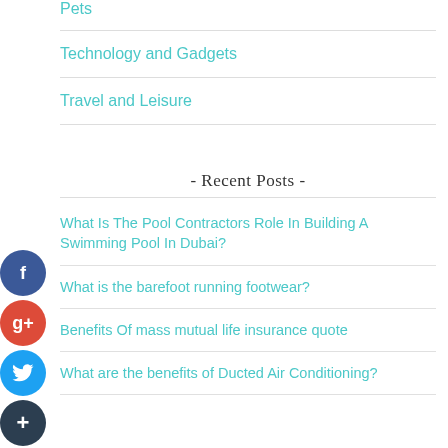Pets
Technology and Gadgets
Travel and Leisure
- Recent Posts -
What Is The Pool Contractors Role In Building A Swimming Pool In Dubai?
What is the barefoot running footwear?
Benefits Of mass mutual life insurance quote
What are the benefits of Ducted Air Conditioning?